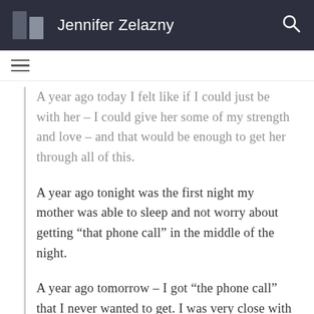Jennifer Zelazny
A year ago today I felt like if I could just be with her – I could give her some of my strength and love – and that would be enough to get her through all of this.
A year ago tonight was the first night my mother was able to sleep and not worry about getting “that phone call” in the middle of the night.
A year ago tomorrow – I got “the phone call” that I never wanted to get. I was very close with my grandmother and I could not imagine not talking to her or seeing her ever again. I